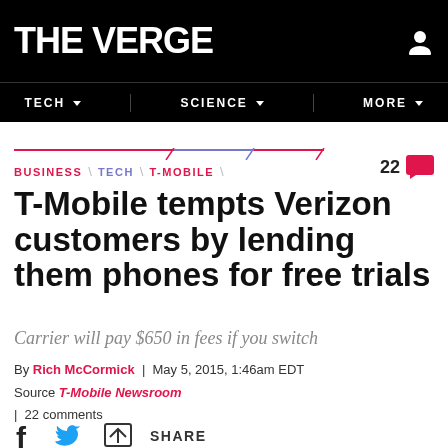THE VERGE
TECH | SCIENCE | MORE
BUSINESS \ TECH \ T-MOBILE  22
T-Mobile tempts Verizon customers by lending them phones for free trials
Carrier will pay $650 in fees if you switch
By Rich McCormick | May 5, 2015, 1:46am EDT
Source T-Mobile Newsroom | 22 comments
SHARE